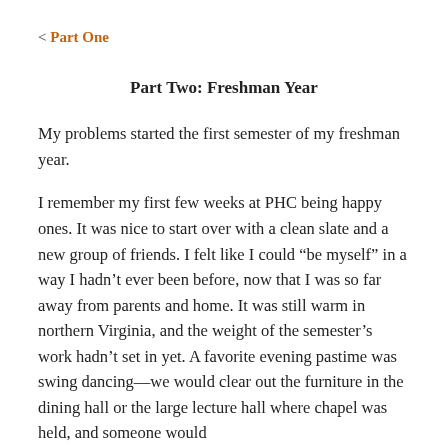< Part One
Part Two: Freshman Year
My problems started the first semester of my freshman year.
I remember my first few weeks at PHC being happy ones. It was nice to start over with a clean slate and a new group of friends. I felt like I could “be myself” in a way I hadn’t ever been before, now that I was so far away from parents and home. It was still warm in northern Virginia, and the weight of the semester’s work hadn’t set in yet. A favorite evening pastime was swing dancing—we would clear out the furniture in the dining hall or the large lecture hall where chapel was held, and someone would